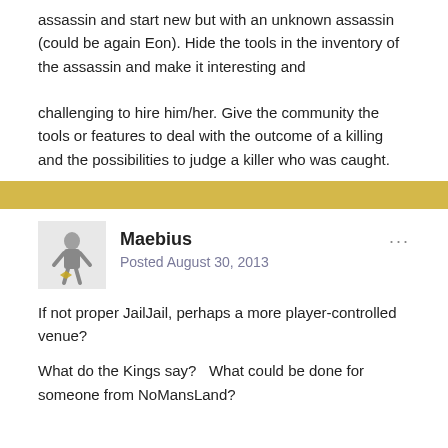assassin and start new but with an unknown assassin (could be again Eon). Hide the tools in the inventory of the assassin and make it interesting and

challenging to hire him/her. Give the community the tools or features to deal with the outcome of a killing and the possibilities to judge a killer who was caught.
[Figure (other): Gold/yellow horizontal divider bar]
Maebius
Posted August 30, 2013
If not proper JailJail, perhaps a more player-controlled venue?

What do the Kings say?   What could be done for someone from NoMansLand?



Either way, the Discussion has value, regardless of which side you are on.  :cool: